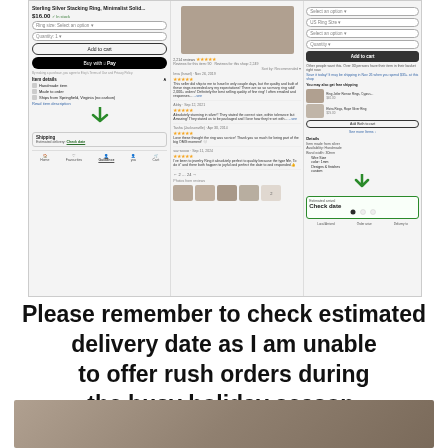[Figure (screenshot): Screenshot of an Etsy product listing for a Sterling Silver Stacking Ring, showing product title, price $16.00, reviews, item details, shipping section with 'Check date' link, Buy with Apple Pay button, and photo reviews. Green arrows point to the Shipping section and Check date area on both mobile and desktop views.]
Please remember to check estimated delivery date as I am unable to offer rush orders during the busy holiday season.
[Figure (photo): Close-up photo of silver stacking rings on a hand, showing a flat band ring and a twisted/rope chain ring in sterling silver.]